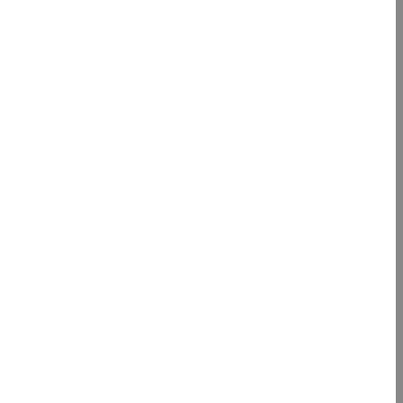[Figure (other): Page showing a vertical gray bar on the left-center area, with rows of small outlined character boxes (representing non-Latin/placeholder glyphs) and truncated text 'gam' on the right side. Ten rows visible at varying vertical positions.]